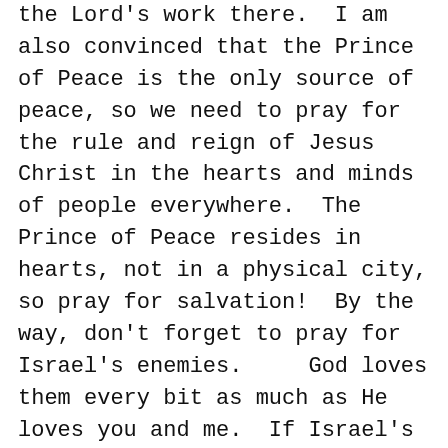the Lord's work there.  I am also convinced that the Prince of Peace is the only source of peace, so we need to pray for the rule and reign of Jesus Christ in the hearts and minds of people everywhere.  The Prince of Peace resides in hearts, not in a physical city, so pray for salvation!  By the way, don't forget to pray for Israel's enemies.    God loves them every bit as much as He loves you and me.  If Israel's enemies are at peace, Israel will be at peace.
In this study, we are developing a habit of praying for the peace of Jerusalem.  Will you join us in making it a consistent part of your daily prayer?